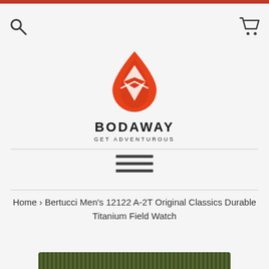Red bar header
[Figure (logo): Bodaway Get Adventurous logo with orange flame/shield icon above company name]
Home › Bertucci Men's 12122 A-2T Original Classics Durable Titanium Field Watch
[Figure (photo): Partial view of a dark olive/green woven watchband at the bottom of the page]